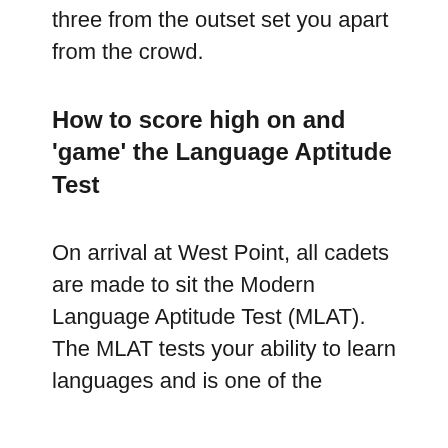three from the outset set you apart from the crowd.
How to score high on and 'game' the Language Aptitude Test
On arrival at West Point, all cadets are made to sit the Modern Language Aptitude Test (MLAT). The MLAT tests your ability to learn languages and is one of the